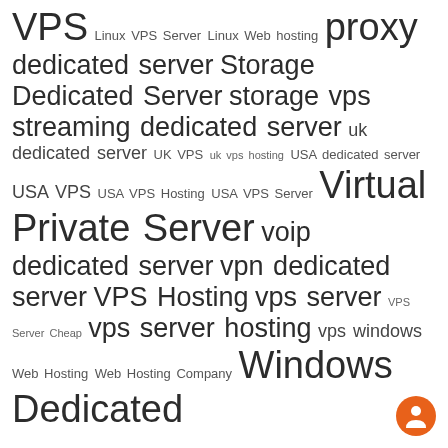[Figure (infographic): Tag cloud containing hosting-related keywords in varying font sizes. Terms include: VPS, Linux VPS Server, Linux Web hosting, proxy, dedicated server, Storage, Dedicated Server, storage vps, streaming dedicated server, uk dedicated server, UK VPS, uk vps hosting, USA dedicated server, USA VPS, USA VPS Hosting, USA VPS Server, Virtual Private Server, voip dedicated server, vpn dedicated server, VPS Hosting, vps server, VPS Server Cheap, vps server hosting, vps windows, Web Hosting, Web Hosting Company, Windows Dedicated. Also includes a chat button (orange circle with person icon) at bottom right.]